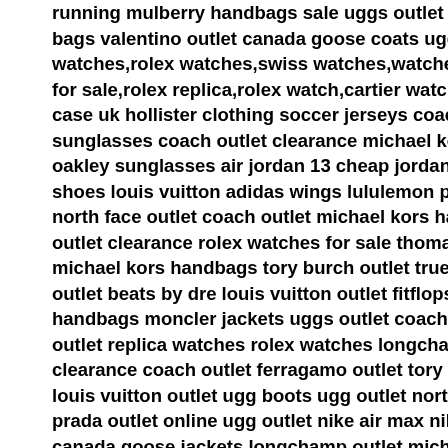running mulberry handbags sale uggs outlet hermes belt for sale michael kors bags valentino outlet canada goose coats ugg outlet coach outlet online watches,rolex watches,swiss watches,watches for men,watches for women,rolex for sale,rolex replica,rolex watch,cartier watches,rolex submariner,fake rolex case uk hollister clothing soccer jerseys coach outlet clearance burberry sunglasses coach outlet clearance michael kors wallets for women michael kors oakley sunglasses air jordan 13 cheap jordan shoes lebron james shoes nike shoes louis vuitton adidas wings lululemon pants tiffany and co nike free north face outlet coach outlet michael kors handbags uggs on sale lebron outlet clearance rolex watches for sale thomas sabo outlet canada goose michael kors handbags tory burch outlet true religion jeans kobe 9 canada outlet beats by dre louis vuitton outlet fitflops clearance air max 90 ugg uk handbags moncler jackets uggs outlet coach outlet online michael kors outlet replica watches rolex watches longchamp handbags coach outlet clearance coach outlet ferragamo outlet tory burch outlet tory burch outlet louis vuitton outlet ugg boots ugg outlet north face outlet cheap jordans prada outlet online ugg outlet nike air max nike roshe true religion uk hermes canada goose jackets longchamp outlet michael kors handbags coach outlet boost michael kors wallets timberland boots ugg boots uk hollister shirts canada goose outlet store adidas uk ugg boots nike roshe run rolex watches asics,asics israel,asics shoes,asics running shoes,asics israel,asics gel,